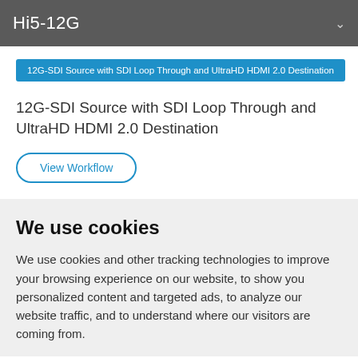Hi5-12G
12G-SDI Source with SDI Loop Through and UltraHD HDMI 2.0 Destination
12G-SDI Source with SDI Loop Through and UltraHD HDMI 2.0 Destination
View Workflow
We use cookies
We use cookies and other tracking technologies to improve your browsing experience on our website, to show you personalized content and targeted ads, to analyze our website traffic, and to understand where our visitors are coming from.